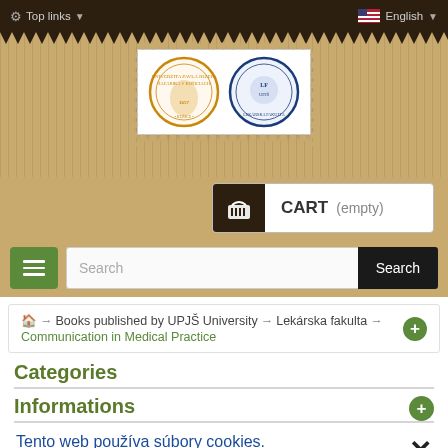Top links | English
[Figure (logo): University stamp/logo with two circular seals — one gold (UPJŠ University) and one blue — displayed inside a postage stamp frame on a tan corrugated background]
CART (empty)
Search
Books published by UPJŠ University → Lekárska fakulta → Communication in Medical Practice
Categories
Informations
Tento web používa súbory cookies. Prehliadaním súhlasíte s ich ukladaním.